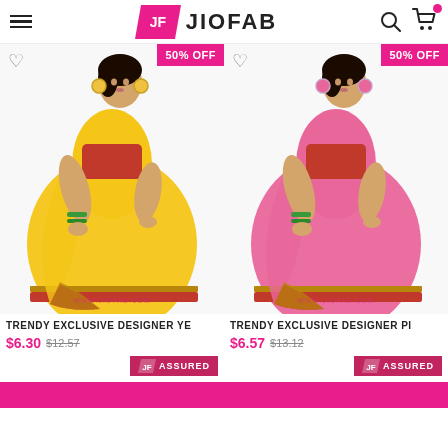JF JIOFAB — navigation header with hamburger menu, logo, search and cart icons
[Figure (photo): Woman wearing yellow saree with red and gold border, 50% OFF badge, heart wishlist icon, www.jiofab.com watermark]
[Figure (photo): Woman wearing pink saree with red and gold border, 50% OFF badge, heart wishlist icon, www.jiofab.com watermark]
TRENDY EXCLUSIVE DESIGNER YE
$6.30  $12.57  JF ASSURED
TRENDY EXCLUSIVE DESIGNER PI
$6.57  $13.12  JF ASSURED